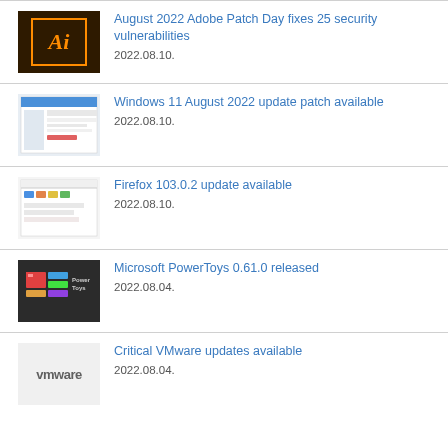August 2022 Adobe Patch Day fixes 25 security vulnerabilities
2022.08.10.
Windows 11 August 2022 update patch available
2022.08.10.
Firefox 103.0.2 update available
2022.08.10.
Microsoft PowerToys 0.61.0 released
2022.08.04.
Critical VMware updates available
2022.08.04.